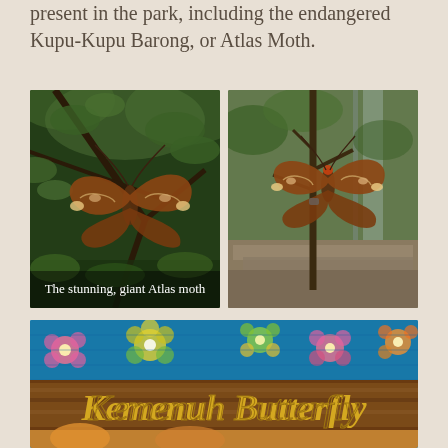present in the park, including the endangered Kupu-Kupu Barong, or Atlas Moth.
[Figure (photo): Close-up photo of a large Atlas moth resting on branches in a green forest enclosure. Caption reads: The stunning, giant Atlas moth]
[Figure (photo): Photo of an Atlas moth perched on a bare tree branch in a garden enclosure with greenery in background]
[Figure (photo): Photo of the Kemenuh Butterfly park entrance sign in gold lettering on a brown wooden board, mounted against a colorful tiled wall with flower murals]